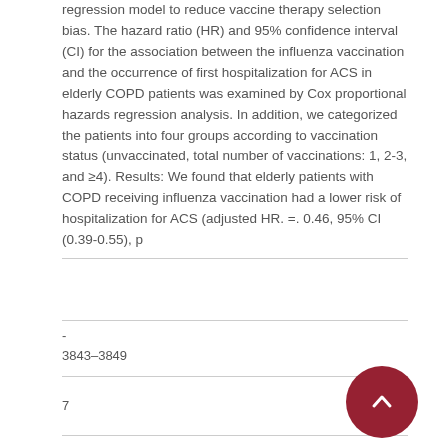regression model to reduce vaccine therapy selection bias. The hazard ratio (HR) and 95% confidence interval (CI) for the association between the influenza vaccination and the occurrence of first hospitalization for ACS in elderly COPD patients was examined by Cox proportional hazards regression analysis. In addition, we categorized the patients into four groups according to vaccination status (unvaccinated, total number of vaccinations: 1, 2-3, and ≥4). Results: We found that elderly patients with COPD receiving influenza vaccination had a lower risk of hospitalization for ACS (adjusted HR. =. 0.46, 95% CI (0.39-0.55), p
-
3843-3849
7